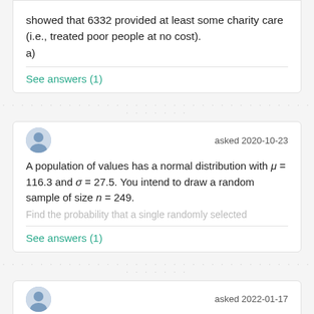showed that 6332 provided at least some charity care (i.e., treated poor people at no cost).
a)
See answers (1)
asked 2020-10-23
A population of values has a normal distribution with μ = 116.3 and σ = 27.5. You intend to draw a random sample of size n = 249.
Find the probability that a single randomly selected
See answers (1)
asked 2022-01-17